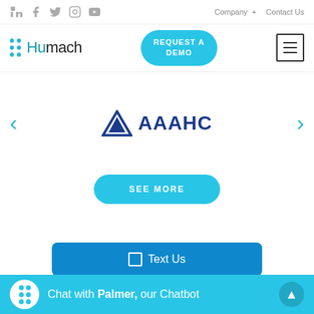[Figure (screenshot): Top navigation bar with social media icons (LinkedIn, Facebook, Twitter, Instagram, YouTube) on the left and Company + and Contact Us links on the right]
[Figure (logo): Humach logo with dot grid and teal text, REQUEST A DEMO button in teal, and hamburger menu icon on the right]
[Figure (logo): AAAHC logo with blue triangle icon and bold AAAHC text, displayed in a carousel with left and right arrows]
[Figure (screenshot): SEE MORE button in teal/cyan color with rounded corners]
[Figure (screenshot): Partially visible Text Us button in dark blue]
Chat with Palmer, our Chatbot